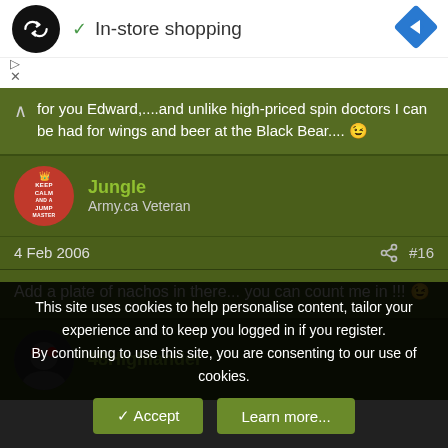[Figure (screenshot): Ad banner: black circle logo with infinity-like arrows, checkmark, 'In-store shopping' text, blue diamond navigation icon on right. Ad controls (play/close) on left below.]
for you Edward,....and unlike high-priced spin doctors I can be had for wings and beer at the Black Bear.... 😉
Jungle
Army.ca Veteran
4 Feb 2006   #16
Add a plate of nachos in there... you can count me in !!! 😉
48Highlander
This site uses cookies to help personalise content, tailor your experience and to keep you logged in if you register.
By continuing to use this site, you are consenting to our use of cookies.
✓ Accept   Learn more...